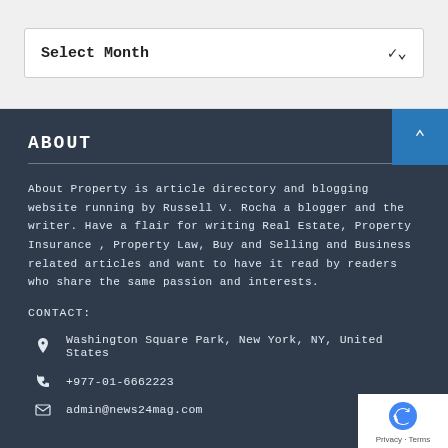Select Month ∨
ABOUT
About Property is article directory and blogging website running by Russell V. Rocha a blogger and the writer. Have a flair for writing Real Estate, Property Insurance , Property Law, Buy and Selling and Business related articles and want to have it read by readers who share the same passion and interests.
CONTACT:
Washington Square Park, New York, NY, United States
+977-01-6662223
admin@news24mag.com